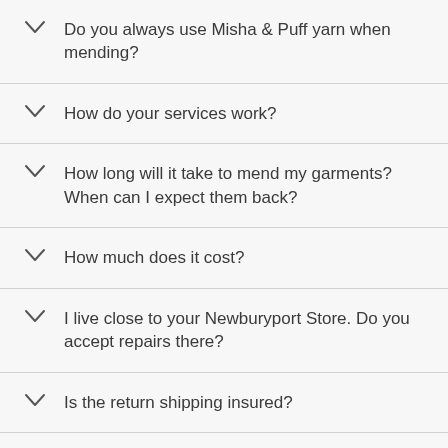Do you always use Misha & Puff yarn when mending?
How do your services work?
How long will it take to mend my garments? When can I expect them back?
How much does it cost?
I live close to your Newburyport Store. Do you accept repairs there?
Is the return shipping insured?
What are the Misha & Puff Mending…